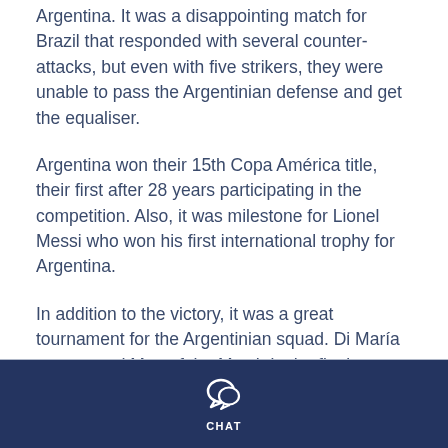Argentina. It was a disappointing match for Brazil that responded with several counter-attacks, but even with five strikers, they were unable to pass the Argentinian defense and get the equaliser.
Argentina won their 15th Copa América title, their first after 28 years participating in the competition. Also, it was milestone for Lionel Messi who won his first international trophy for Argentina.
In addition to the victory, it was a great tournament for the Argentinian squad. Di María was named Man of the Match in the final game, Messi won the Best Player of the Tournament Award, and Emiliano Martinez the competition's best goalkeeper.
CHAT